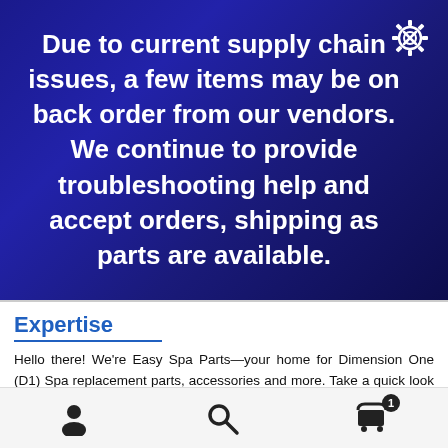Due to current supply chain issues, a few items may be on back order from our vendors. We continue to provide troubleshooting help and accept orders, shipping as parts are available.
Expertise
Hello there! We're Easy Spa Parts—your home for Dimension One (D1) Spa replacement parts, accessories and more. Take a quick look around and you'll notice two things: it's simple to find the perfect Dimension One Spa part, accessory or spa cover, and, we can help you troubleshoot and repair most D1 Spa problems quickly. At Easy Spa Parts, we're more than technicians. We're hot